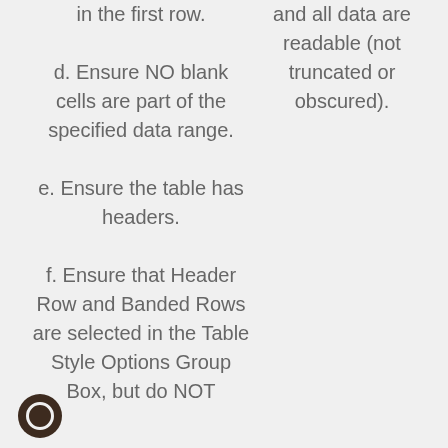in the first row.
d. Ensure NO blank cells are part of the specified data range.
e. Ensure the table has headers.
f. Ensure that Header Row and Banded Rows are selected in the Table Style Options Group Box, but do NOT
and all data are readable (not truncated or obscured).